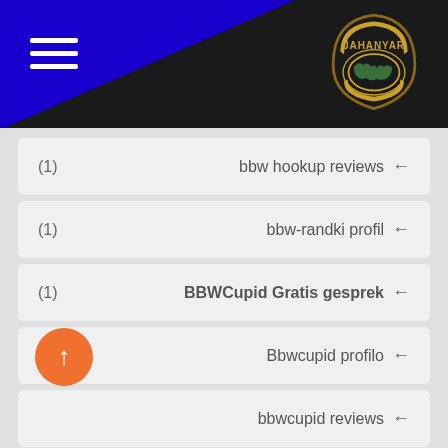[Figure (logo): JAHANYAR logo badge - dark shield shape with gold text JAHANYAR and world map graphic, on dark header with blue triangle]
(1)   bbw hookup reviews ←
(1)   bbw-randki profil ←
(1)   BBWCupid Gratis gesprek ←
(1)   Bbwcupid profilo ←
(1)   bbwcupid reviews ←